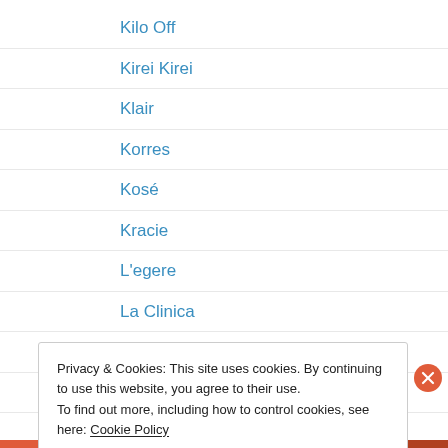Kilo Off
Kirei Kirei
Klair
Korres
Kosé
Kracie
L'egere
La Clinica
La Roche-Posay
Lab Series
LaMer
Lancôme
Laneige
Privacy & Cookies: This site uses cookies. By continuing to use this website, you agree to their use.
To find out more, including how to control cookies, see here: Cookie Policy